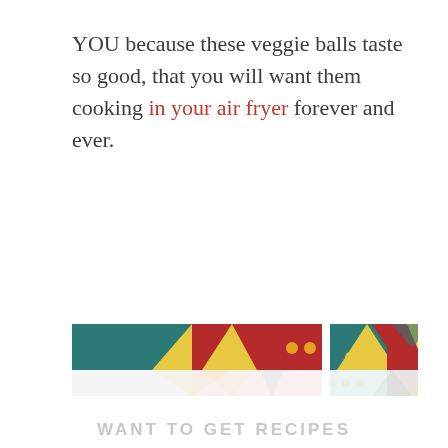YOU because these veggie balls taste so good, that you will want them cooking in your air fryer forever and ever.
[Figure (illustration): Decorative geometric banner with teal, yellow, red and grey triangular shapes and dots, appearing twice (full color on top, faded below)]
WANT TO GET RECIPES